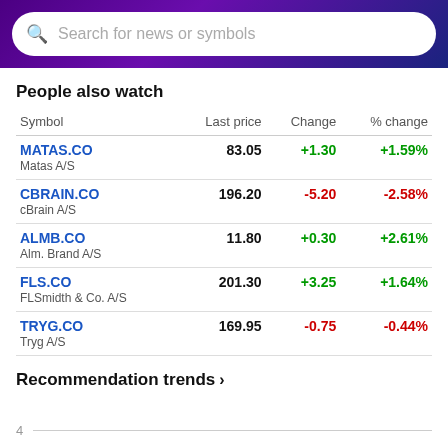Search for news or symbols
People also watch
| Symbol | Last price | Change | % change |
| --- | --- | --- | --- |
| MATAS.CO
Matas A/S | 83.05 | +1.30 | +1.59% |
| CBRAIN.CO
cBrain A/S | 196.20 | -5.20 | -2.58% |
| ALMB.CO
Alm. Brand A/S | 11.80 | +0.30 | +2.61% |
| FLS.CO
FLSmidth & Co. A/S | 201.30 | +3.25 | +1.64% |
| TRYG.CO
Tryg A/S | 169.95 | -0.75 | -0.44% |
Recommendation trends
4